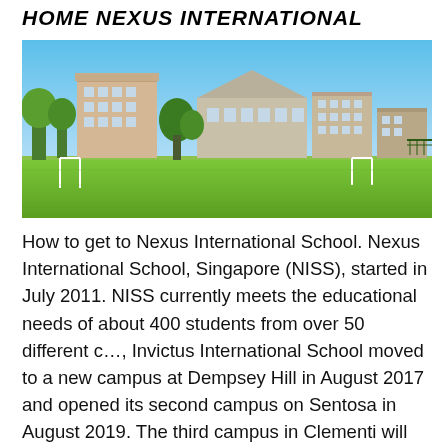HOME NEXUS INTERNATIONAL
[Figure (photo): Wide panoramic photo of Nexus International School campus showing multi-storey school buildings, green sports field in the foreground, and blue sky above.]
How to get to Nexus International School. Nexus International School, Singapore (NISS), started in July 2011. NISS currently meets the educational needs of about 400 students from over 50 different c…, Invictus International School moved to a new campus at Dempsey Hill in August 2017 and opened its second campus on Sentosa in August 2019. The third campus in Clementi will be opened...